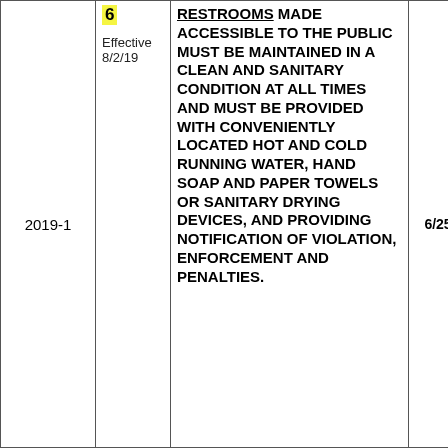| Year | Num/Effective | Text | Date | Icons |
| --- | --- | --- | --- | --- |
| 2019-1 | 6
Effective 8/2/19 | RESTROOMS MADE ACCESSIBLE TO THE PUBLIC MUST BE MAINTAINED IN A CLEAN AND SANITARY CONDITION AT ALL TIMES AND MUST BE PROVIDED WITH CONVENIENTLY LOCATED HOT AND COLD RUNNING WATER, HAND SOAP AND PAPER TOWELS OR SANITARY DRYING DEVICES, AND PROVIDING NOTIFICATION OF VIOLATION, ENFORCEMENT AND PENALTIES. | 6/25 | (icons) |